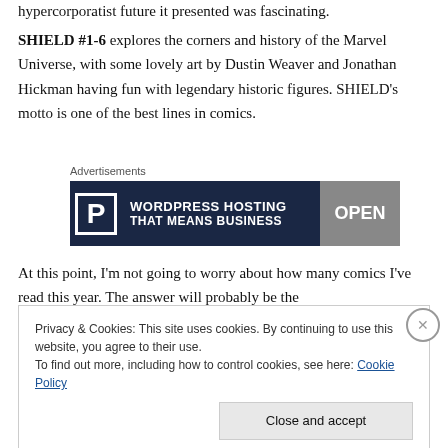hypercorporatist future it presented was fascinating.
SHIELD #1-6 explores the corners and history of the Marvel Universe, with some lovely art by Dustin Weaver and Jonathan Hickman having fun with legendary historic figures. SHIELD's motto is one of the best lines in comics.
[Figure (screenshot): Advertisement banner for WordPress Hosting service with dark navy background, showing a 'P' logo in a white box on the left, bold white text 'WORDPRESS HOSTING THAT MEANS BUSINESS' in the center, and an 'OPEN' sign image on the right.]
At this point, I'm not going to worry about how many comics I've read this year. The answer will probably be the
Privacy & Cookies: This site uses cookies. By continuing to use this website, you agree to their use.
To find out more, including how to control cookies, see here: Cookie Policy
Close and accept